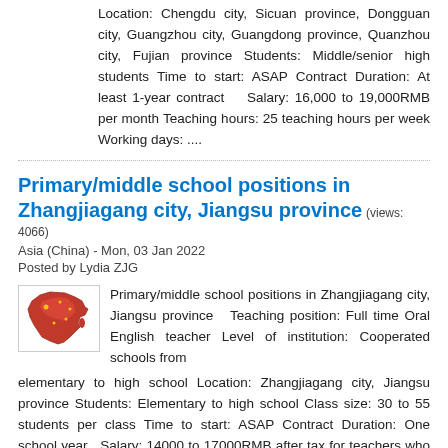Location: Chengdu city, Sicuan province, Dongguan city, Guangzhou city, Guangdong province, Quanzhou city, Fujian province Students: Middle/senior high students Time to start: ASAP Contract Duration: At least 1-year contract   Salary: 16,000 to 19,000RMB per month Teaching hours: 25 teaching hours per week Working days: ....
Primary/middle school positions in Zhangjiagang city, Jiangsu province (views: 4066)
Asia (China) - Mon, 03 Jan 2022
Posted by Lydia ZJG
[Figure (illustration): Map of China with red color highlighting]
Primary/middle school positions in Zhangjiagang city, Jiangsu province  Teaching position: Full time Oral English teacher Level of institution: Cooperated schools from elementary to high school Location: Zhangjiagang city, Jiangsu province Students: Elementary to high school Class size: 30 to 55 students per class Time to start: ASAP Contract Duration: One school year  Salary: 14000 to 17000RMB after tax for teachers who are in China